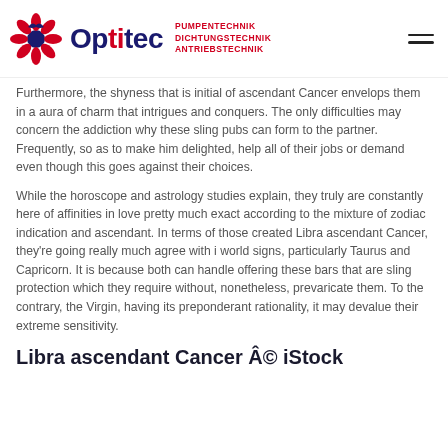Optitec – PUMPENTECHNIK DICHTUNGSTECHNIK ANTRIEBSTECHNIK
Furthermore, the shyness that is initial of ascendant Cancer envelops them in a aura of charm that intrigues and conquers. The only difficulties may concern the addiction why these sling pubs can form to the partner. Frequently, so as to make him delighted, help all of their jobs or demand even though this goes against their choices.
While the horoscope and astrology studies explain, they truly are constantly here of affinities in love pretty much exact according to the mixture of zodiac indication and ascendant. In terms of those created Libra ascendant Cancer, they're going really much agree with i world signs, particularly Taurus and Capricorn. It is because both can handle offering these bars that are sling protection which they require without, nonetheless, prevaricate them. To the contrary, the Virgin, having its preponderant rationality, it may devalue their extreme sensitivity.
Libra ascendant Cancer © iStock